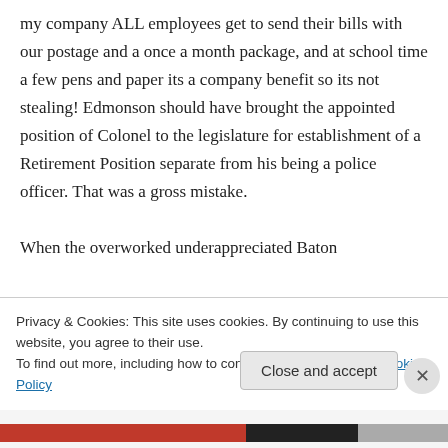my company ALL employees get to send their bills with our postage and a once a month package, and at school time a few pens and paper its a company benefit so its not stealing! Edmonson should have brought the appointed position of Colonel to the legislature for establishment of a Retirement Position separate from his being a police officer. That was a gross mistake.
When the overworked underappreciated Baton
Privacy & Cookies: This site uses cookies. By continuing to use this website, you agree to their use.
To find out more, including how to control cookies, see here: Cookie Policy